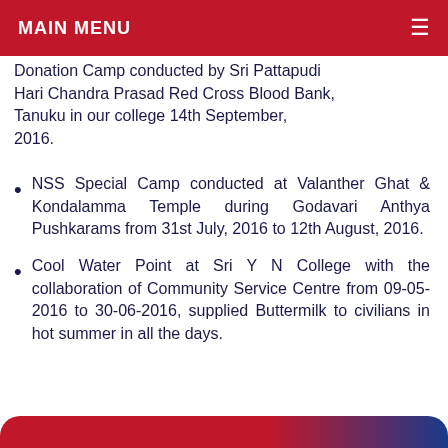MAIN MENU
Donation Camp conducted by Sri Pattapudi Hari Chandra Prasad Red Cross Blood Bank, Tanuku in our college 14th September, 2016.
NSS Special Camp conducted at Valanther Ghat & Kondalamma Temple during Godavari Anthya Pushkarams from 31st July, 2016 to 12th August, 2016.
Cool Water Point at Sri Y N College with the collaboration of Community Service Centre from 09-05-2016 to 30-06-2016, supplied Buttermilk to civilians in hot summer in all the days.